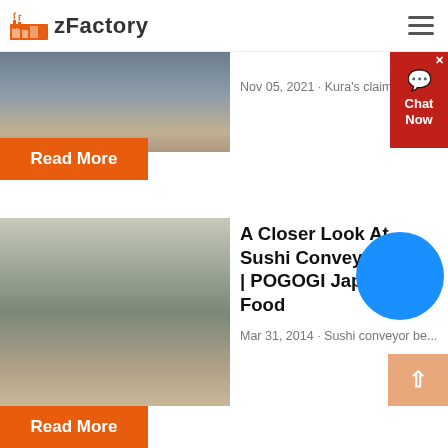zFactory
[Figure (photo): Industrial facility with conveyor machinery and equipment (partial top crop)]
Nov 05, 2021 · Kura's claim to fa...
Read More
[Figure (photo): Outdoor industrial heavy mining or crushing equipment with cranes and scaffolding]
A Closer Look At Sushi Conveyor Belts | POGOGI Japanese Food
Mar 31, 2014 · Sushi conveyor be...
Read More